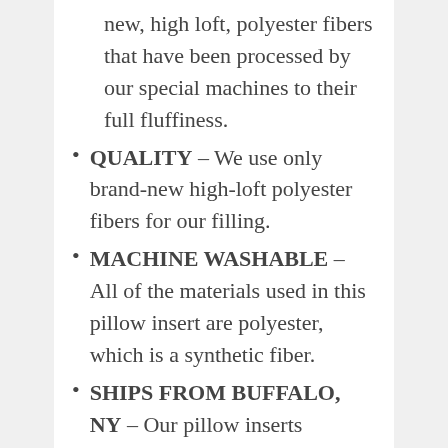new, high loft, polyester fibers that have been processed by our special machines to their full fluffiness.
QUALITY – We use only brand-new high-loft polyester fibers for our filling.
MACHINE WASHABLE – All of the materials used in this pillow insert are polyester, which is a synthetic fiber.
SHIPS FROM BUFFALO, NY – Our pillow inserts